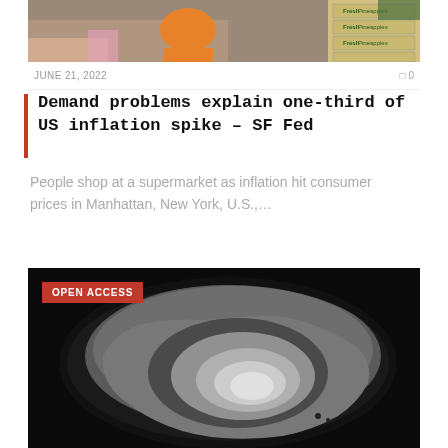[Figure (photo): People shopping at a supermarket, partial view showing legs and boxes of fresh pineapples on the right side]
JUNE 21, 2022   0
Demand problems explain one-third of US inflation spike – SF Fed
People shop at a supermarket as inflation hit consumer prices in Manhattan, New York, U.S.,...
[Figure (photo): MRI brain scan image showing sagittal cross-section of brain, grayscale, with OPEN ACCESS badge overlaid in red]